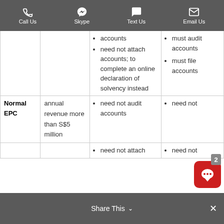Call Us | Skype | Text Us | Email Us
|  | Revenue Threshold | Accounts Filing | Audit Requirements |
| --- | --- | --- | --- |
| Normal EPC | annual revenue more than S$5 million | need not attach accounts; to complete an online declaration of solvency instead | • must audit accounts
• must file accounts |
|  |  | • need not audit accounts
• need not attach
• need not | • need not |
Share This